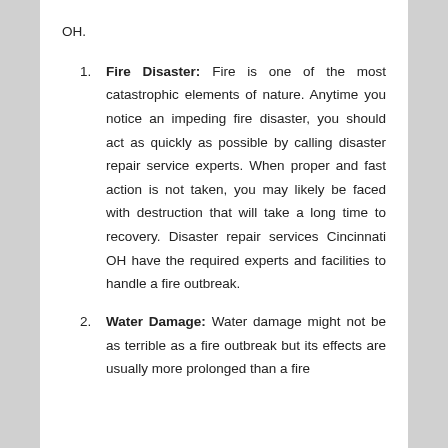OH.
Fire Disaster: Fire is one of the most catastrophic elements of nature. Anytime you notice an impeding fire disaster, you should act as quickly as possible by calling disaster repair service experts. When proper and fast action is not taken, you may likely be faced with destruction that will take a long time to recovery. Disaster repair services Cincinnati OH have the required experts and facilities to handle a fire outbreak.
Water Damage: Water damage might not be as terrible as a fire outbreak but its effects are usually more prolonged than a fire